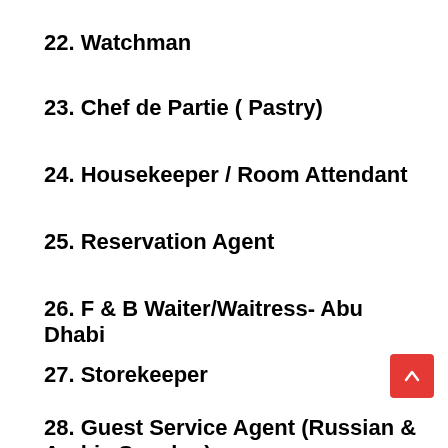22. Watchman
23. Chef de Partie ( Pastry)
24. Housekeeper / Room Attendant
25. Reservation Agent
26. F & B Waiter/Waitress- Abu Dhabi
27. Storekeeper
28. Guest Service Agent (Russian & Arabic Speaker)